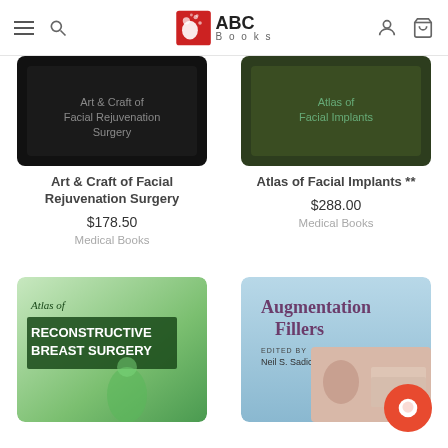ABC Books
[Figure (photo): Book cover for Art & Craft of Facial Rejuvenation Surgery (dark/black cover)]
Art & Craft of Facial Rejuvenation Surgery
$178.50
Medical Books
[Figure (photo): Book cover for Atlas of Facial Implants (dark green cover)]
Atlas of Facial Implants **
$288.00
Medical Books
[Figure (photo): Book cover for Atlas of Reconstructive Breast Surgery (green/white cover with stylized woman figure)]
[Figure (photo): Book cover for Augmentation Fillers edited by Neil S. Sadick (light blue cover with face/nose images)]